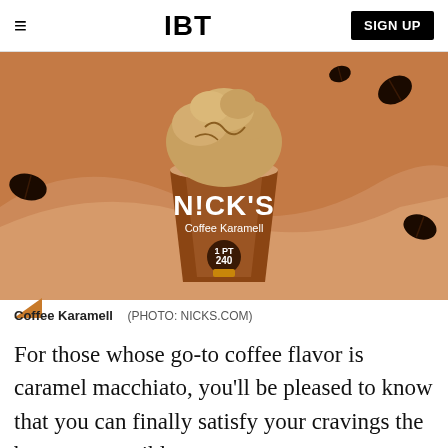IBT
[Figure (photo): Nick's Coffee Karamell ice cream pint with a scoop on top, floating coffee beans, on a warm brown background with wave shapes]
Coffee Karamell (PHOTO: NICKS.COM)
For those whose go-to coffee flavor is caramel macchiato, you'll be pleased to know that you can finally satisfy your cravings the best way possible.